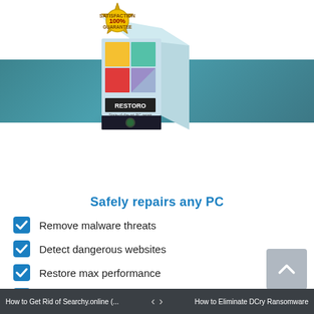[Figure (photo): Restoro software box with 100% Satisfaction Guarantee badge, teal banner background, and four certification/award badges below (5-star download award, Softonic Outstanding, 3.5 sim award, Microsoft Certified Partner)]
Safely repairs any PC
Remove malware threats
Detect dangerous websites
Restore max performance
Free precious disk space
Replace damaged windows files
How to Get Rid of Searchy.online (... | < > | How to Eliminate DCry Ransomware